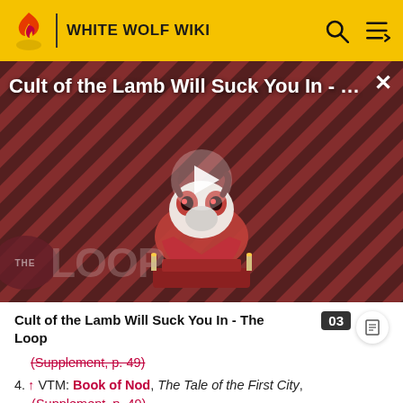WHITE WOLF WIKI
[Figure (screenshot): Video thumbnail for 'Cult of the Lamb Will Suck You In - The Loop' with a cartoon lamb character on a red striped background and a play button overlay. The Loop logo appears in the lower left.]
Cult of the Lamb Will Suck You In - The Loop
(Supplement, p. 49)
4. ↑ VTM: Book of Nod, The Tale of the First City, (Supplement, p. 49)
5. ↑ Clanbook: Nosferatu Revised, p. 16